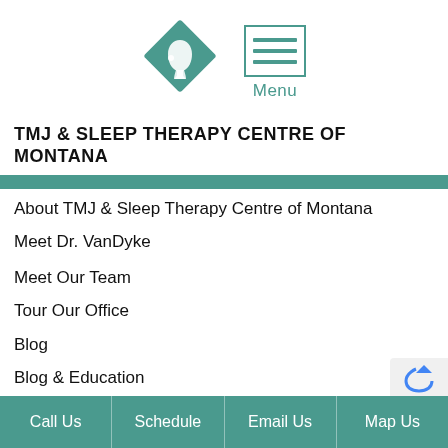[Figure (logo): TMJ & Sleep Therapy Centre of Montana logo: teal diamond shape with white face/jaw silhouette, next to a menu icon (three horizontal teal lines in a teal-bordered box) with 'Menu' label below]
TMJ & SLEEP THERAPY CENTRE OF MONTANA
About TMJ & Sleep Therapy Centre of Montana
Meet Dr. VanDyke
Meet Our Team
Tour Our Office
Blog
Blog & Education
Call Us  Schedule  Email Us  Map Us